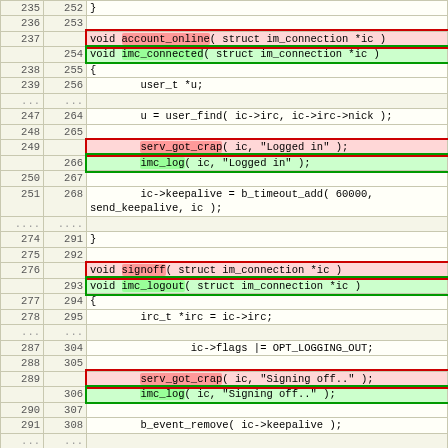| old | new | code |
| --- | --- | --- |
| 235 | 252 | } |
| 236 | 253 |  |
| 237 |  | void account_online( struct im_connection *ic ) |
|  | 254 | void imc_connected( struct im_connection *ic ) |
| 238 | 255 | { |
| 239 | 256 |         user_t *u; |
| ... | ... |  |
| 247 | 264 |         u = user_find( ic->irc, ic->irc->nick ); |
| 248 | 265 |  |
| 249 |  |         serv_got_crap( ic, "Logged in" ); |
|  | 266 |         imc_log( ic, "Logged in" ); |
| 250 | 267 |  |
| 251 | 268 |         ic->keepalive = b_timeout_add( 60000,
send_keepalive, ic ); |
| .... | .... |  |
| 274 | 291 | } |
| 275 | 292 |  |
| 276 |  | void signoff( struct im_connection *ic ) |
|  | 293 | void imc_logout( struct im_connection *ic ) |
| 277 | 294 | { |
| 278 | 295 |         irc_t *irc = ic->irc; |
| ... | ... |  |
| 287 | 304 |                 ic->flags |= OPT_LOGGING_OUT; |
| 288 | 305 |  |
| 289 |  |         serv_got_crap( ic, "Signing off.." ); |
|  | 306 |         imc_log( ic, "Signing off.." ); |
| 290 | 307 |  |
| 291 | 308 |         b_event_remove( ic->keepalive ); |
| ... | ... |  |
| 321 | 338 |                 int delay = set_getint( &irc-
>set, "auto_reconnect_delay" ); |
| 322 | 339 |  |